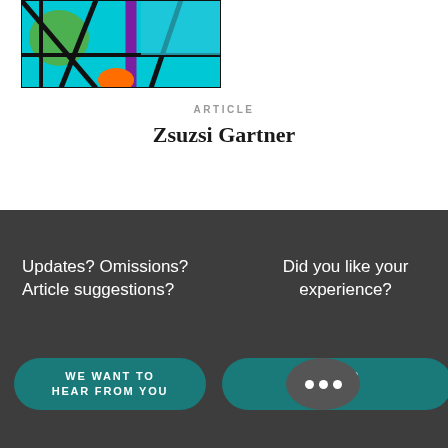[Figure (illustration): Colorful abstract artwork with green, teal, cyan, purple/magenta and orange shapes outlined in black, resembling stained glass.]
ARTICLE
Zsuzsi Gartner
Updates? Omissions? Article suggestions?
Did you like your experience?
WE WANT TO HEAR FROM YOU
TA R S